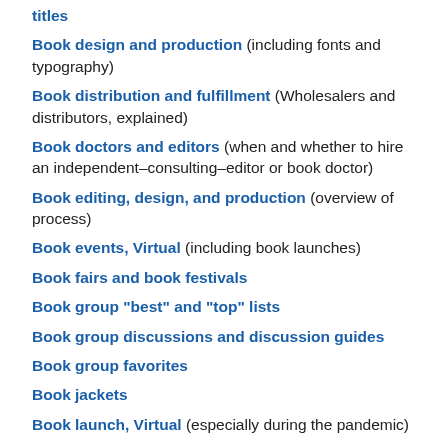titles
Book design and production (including fonts and typography)
Book distribution and fulfillment (Wholesalers and distributors, explained)
Book doctors and editors (when and whether to hire an independent–consulting–editor or book doctor)
Book editing, design, and production (overview of process)
Book events, Virtual (including book launches)
Book fairs and book festivals
Book group "best" and "top" lists
Book group discussions and discussion guides
Book group favorites
Book jackets
Book launch, Virtual (especially during the pandemic)
Book, order of the parts of
Book news, reviews, and author interviews (plus